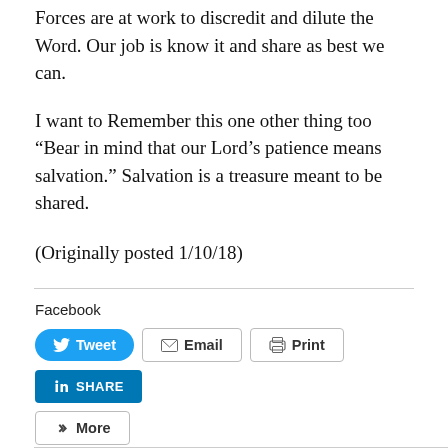Forces are at work to discredit and dilute the Word. Our job is know it and share as best we can.
I want to Remember this one other thing too “Bear in mind that our Lord’s patience means salvation.” Salvation is a treasure meant to be shared.
(Originally posted 1/10/18)
Facebook
[Figure (other): Social sharing buttons: Tweet (Twitter), Email, Print, LinkedIn Share, More]